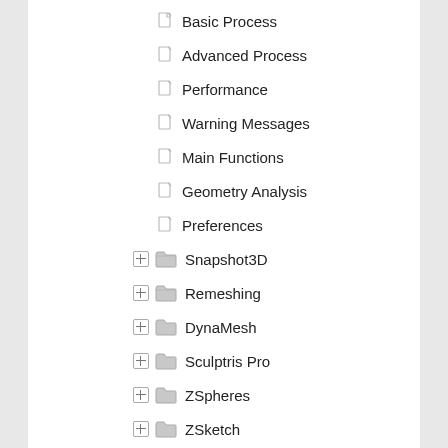Basic Process
Advanced Process
Performance
Warning Messages
Main Functions
Geometry Analysis
Preferences
Snapshot3D
Remeshing
DynaMesh
Sculptris Pro
ZSpheres
ZSketch
Mannequins
SubTools
Stager
Align & Distribute
Subdivision Levels